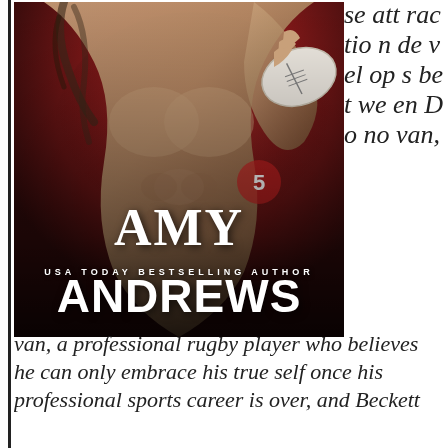[Figure (photo): Book cover for a romance novel by Amy Andrews, USA Today Bestselling Author. Shows a muscular athletic man holding a rugby/football ball against a dark red background. Text on cover reads: AMY, USA TODAY BESTSELLING AUTHOR, ANDREWS]
se attraction develops between Donovan, a professional rugby player who believes he can only embrace his true self once his professional sports career is over, and Beckett
van, a professional rugby player who believes he can only embrace his true self once his professional sports career is over, and Beckett